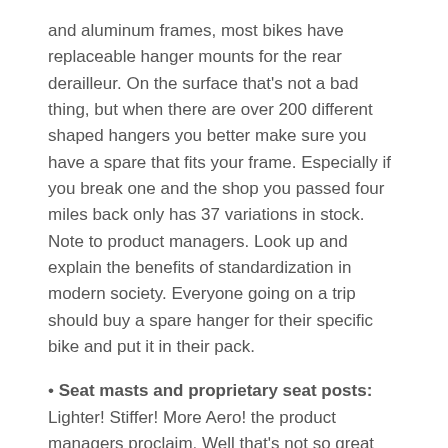and aluminum frames, most bikes have replaceable hanger mounts for the rear derailleur. On the surface thatâs not a bad thing, but when there are over 200 different shaped hangers you better make sure you have a spare that fits your frame. Especially if you break one and the shop you passed four miles back only has 37 variations in stock. Note to product managers. Look up and explain the benefits of standardization in modern society. Everyone going on a trip should buy a spare hanger for their specific bike and put it in their pack.
• Seat masts and proprietary seat posts: Lighter! Stiffer! More Aero! the product managers proclaim. Well thatâs not so great when your seatpost clamp fails and the closet shop that has one is 2 counties away. I feel you should be able to walk into any shop anywhere in the world and buy a seatpost. We brought a bicycle brand into the shop this year